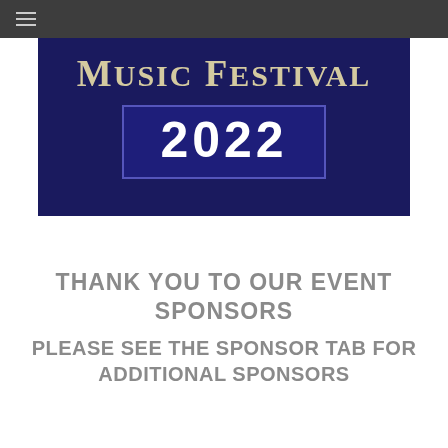☰ (hamburger menu)
[Figure (illustration): Music Festival 2022 banner image: dark navy background with text 'MUSIC FESTIVAL' in large serif caps in cream/beige color, and '2022' in large white bold text on a dark navy rectangle below]
THANK YOU TO OUR EVENT SPONSORS
PLEASE SEE THE SPONSOR TAB FOR ADDITIONAL SPONSORS